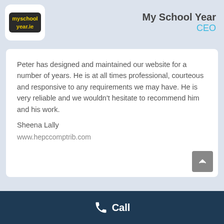[Figure (logo): myschoolyear.ie logo in a white rounded rectangle]
My School Year
CEO
Peter has designed and maintained our website for a number of years. He is at all times professional, courteous and responsive to any requirements we may have. He is very reliable and we wouldn't hesitate to recommend him and his work.

Sheena Lally

www.hepccomptrib.com
Call